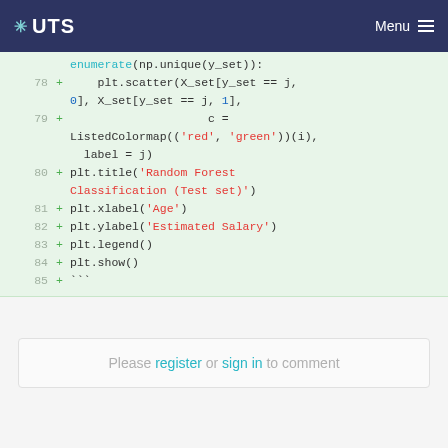UTS Menu
[Figure (screenshot): Code block showing Python matplotlib code lines 78-85 with green diff markers on light green background]
Please register or sign in to comment